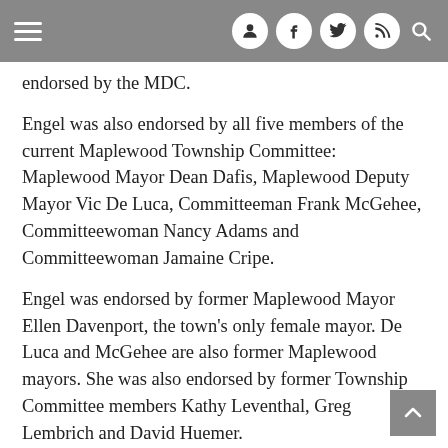Navigation bar with hamburger menu and social icons (user, facebook, twitter, rss, search)
endorsed by the MDC.
Engel was also endorsed by all five members of the current Maplewood Township Committee: Maplewood Mayor Dean Dafis, Maplewood Deputy Mayor Vic De Luca, Committeeman Frank McGehee, Committeewoman Nancy Adams and Committeewoman Jamaine Cripe.
Engel was endorsed by former Maplewood Mayor Ellen Davenport, the town’s only female mayor. De Luca and McGehee are also former Maplewood mayors. She was also endorsed by former Township Committee members Kathy Leventhal, Greg Lembrich and David Huemer.
Additionally, Engel was endorsed by South Orange